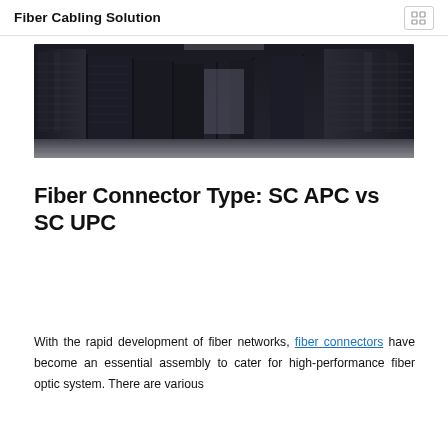Fiber Cabling Solution
[Figure (photo): Row of black server racks in a data center, perspective view showing a long corridor of equipment.]
Fiber Connector Type: SC APC vs SC UPC
With the rapid development of fiber networks, fiber connectors have become an essential assembly to cater for high-performance fiber optic system. There are various